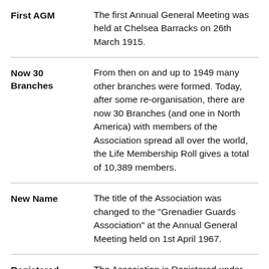First AGM | The first Annual General Meeting was held at Chelsea Barracks on 26th March 1915.
Now 30 Branches | From then on and up to 1949 many other branches were formed. Today, after some re-organisation, there are now 30 Branches (and one in North America) with members of the Association spread all over the world, the Life Membership Roll gives a total of 10,389 members.
New Name | The title of the Association was changed to the "Grenadier Guards Association" at the Annual General Meeting held on 1st April 1967.
Registered | The Association is Registered under